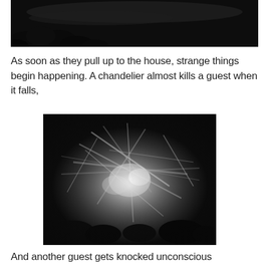[Figure (photo): Dark black and white film still showing trees or outdoor scene at top of page, partially cropped]
As soon as they pull up to the house, strange things begin happening. A chandelier almost kills a guest when it falls,
[Figure (photo): Black and white film still showing a fallen chandelier amid chaos, with debris and people visible]
And another guest gets knocked unconscious